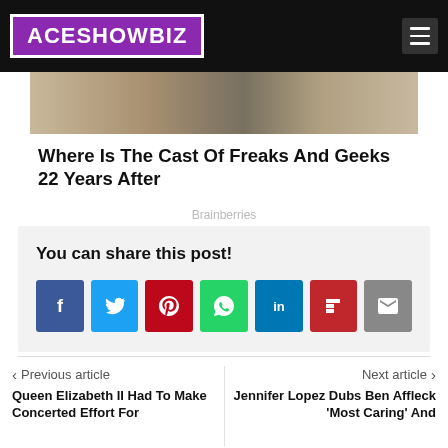ACESHOWBIZ
[Figure (photo): Photo strip showing cast members, partially cropped at top]
Where Is The Cast Of Freaks And Geeks 22 Years After
Brainberries
You can share this post!
[Figure (infographic): Social share buttons: Facebook, Twitter, Pinterest, WhatsApp, LinkedIn, Flipboard, Email]
< Previous article
Queen Elizabeth II Had To Make Concerted Effort For
Next article >
Jennifer Lopez Dubs Ben Affleck 'Most Caring' And